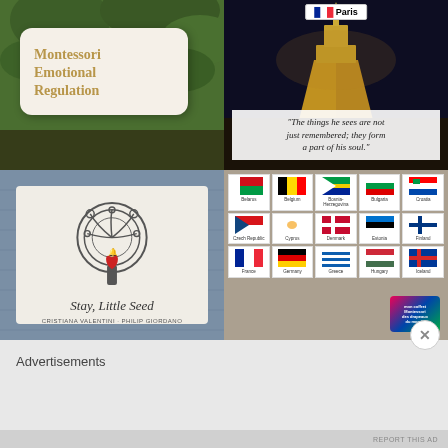[Figure (photo): Top-left: Book cover 'Montessori Emotional Regulation' shown against green background]
[Figure (photo): Top-right: Eiffel Tower at night with text 'Paris' label and italic quote: "The things he sees are not just remembered; they form a part of his soul."]
[Figure (photo): Bottom-left: Book cover 'Stay, Little Seed' by Cristiana Valentini and Philip Giordano, featuring tree illustration with heart]
[Figure (photo): Bottom-right: Grid of European country flag cards (Belarus, Belgium, Bosnia-Herzegovina, Bulgaria, Croatia, Czech Republic, Cyprus, Denmark, Estonia, Finland, France, Germany, Greece, Hungary, Iceland) with Montessori coffret badge]
Advertisements
REPORT THIS AD